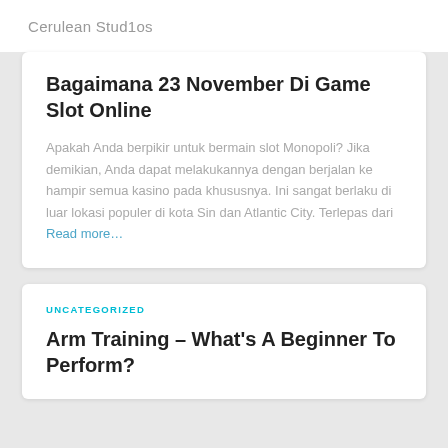Cerulean Stud1os
Bagaimana 23 November Di Game Slot Online
Apakah Anda berpikir untuk bermain slot Monopoli? Jika demikian, Anda dapat melakukannya dengan berjalan ke hampir semua kasino pada khususnya. Ini sangat berlaku di luar lokasi populer di kota Sin dan Atlantic City. Terlepas dari Read more...
UNCATEGORIZED
Arm Training – What's A Beginner To Perform?